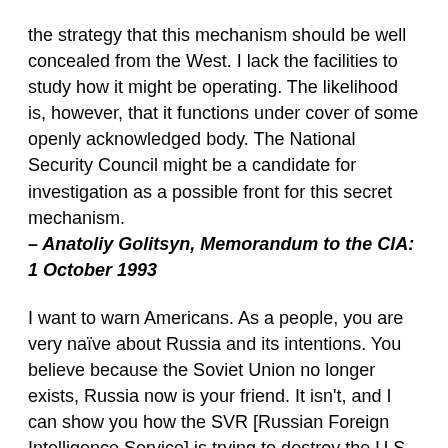the strategy that this mechanism should be well concealed from the West. I lack the facilities to study how it might be operating. The likelihood is, however, that it functions under cover of some openly acknowledged body. The National Security Council might be a candidate for investigation as a possible front for this secret mechanism. – Anatoliy Golitsyn, Memorandum to the CIA: 1 October 1993
I want to warn Americans. As a people, you are very naïve about Russia and its intentions. You believe because the Soviet Union no longer exists, Russia now is your friend. It isn't, and I can show you how the SVR [Russian Foreign Intelligence Service] is trying to destroy the U.S. even today and even more than the KGB did during the Cold War. – Sergei Tretyakov, as quoted by Pete Early in